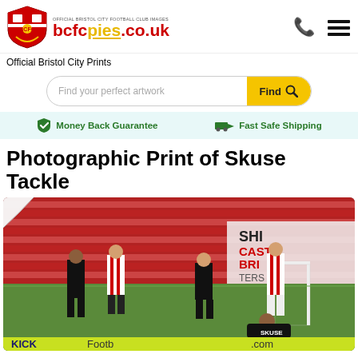[Figure (logo): Bristol City FC shield logo and bcfcpies.co.uk brand logo with tagline]
Official Bristol City Prints
[Figure (other): Search bar with placeholder 'Find your perfect artwork' and yellow Find button with magnifying glass icon]
Money Back Guarantee    Fast Safe Shipping
Photographic Print of Skuse Tackle
[Figure (photo): Football match photo showing players in red-and-white striped kits (home) and black kits (away) on a football pitch with red stadium seating in background and advertising boards]